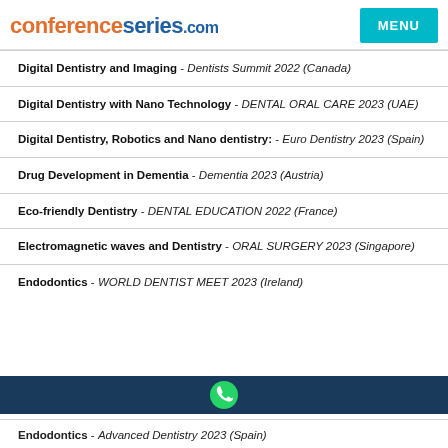conferenceseries.com  MENU
Digital Dentistry and Imaging - Dentists Summit 2022 (Canada)
Digital Dentistry with Nano Technology - DENTAL ORAL CARE 2023 (UAE)
Digital Dentistry, Robotics and Nano dentistry: - Euro Dentistry 2023 (Spain)
Drug Development in Dementia - Dementia 2023 (Austria)
Eco-friendly Dentistry - DENTAL EDUCATION 2022 (France)
Electromagnetic waves and Dentistry - ORAL SURGERY 2023 (Singapore)
Endodontics - WORLD DENTIST MEET 2023 (Ireland)
Endodontics - Advanced Dentistry 2023 (Spain)